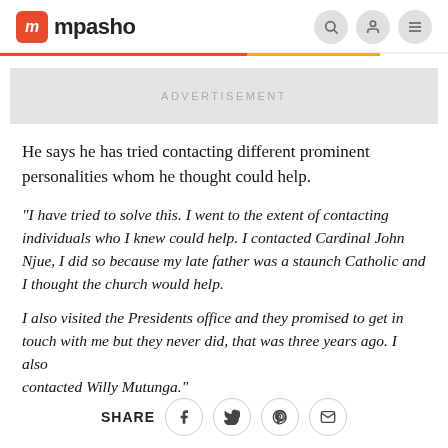mpasho
[Figure (other): Advertisement banner placeholder]
He says he has tried contacting different prominent personalities whom he thought could help.
"I have tried to solve this. I went to the extent of contacting individuals who I knew could help. I contacted Cardinal John Njue, I did so because my late father was a staunch Catholic and I thought the church would help.
I also visited the Presidents office and they promised to get in touch with me but they never did, that was three years ago. I also contacted Willy Mutunga."